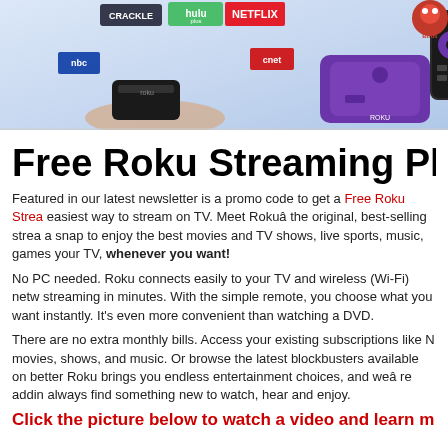[Figure (photo): Hero banner image showing Roku streaming devices (small black player, purple player, remote control) held by a hand, with streaming service logos (Netflix, Hulu, Crackle, NBC, CNET, etc.) in the background, and Angry Birds logo visible at top right.]
Free Roku Streaming Playe
Featured in our latest newsletter is a promo code to get a Free Roku Strea easiest way to stream on TV. Meet Rokuâthe original, best-selling strea a snap to enjoy the best movies and TV shows, live sports, music, games your TV, whenever you want!
No PC needed. Roku connects easily to your TV and wireless (Wi-Fi) netw streaming in minutes. With the simple remote, you choose what you want instantly. It's even more convenient than watching a DVD.
There are no extra monthly bills. Access your existing subscriptions like N movies, shows, and music. Or browse the latest blockbusters available on better Roku brings you endless entertainment choices, and weâre addin always find something new to watch, hear and enjoy.
Click the picture below to watch a video and learn m